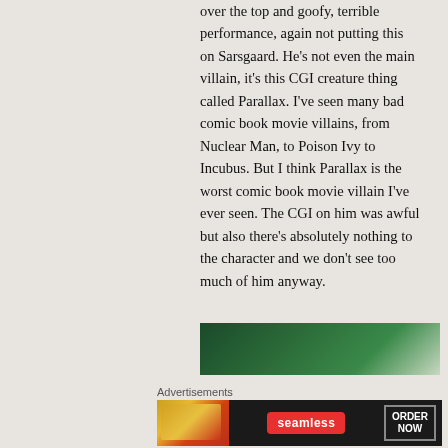over the top and goofy, terrible performance, again not putting this on Sarsgaard. He's not even the main villain, it's this CGI creature thing called Parallax. I've seen many bad comic book movie villains, from Nuclear Man, to Poison Ivy to Incubus. But I think Parallax is the worst comic book movie villain I've ever seen. The CGI on him was awful but also there's absolutely nothing to the character and we don't see too much of him anyway.
[Figure (photo): Partial image of what appears to be a green-themed scene, likely from a comic book movie]
Advertisements
[Figure (screenshot): Seamless food delivery advertisement with pizza image, Seamless logo, and ORDER NOW button]